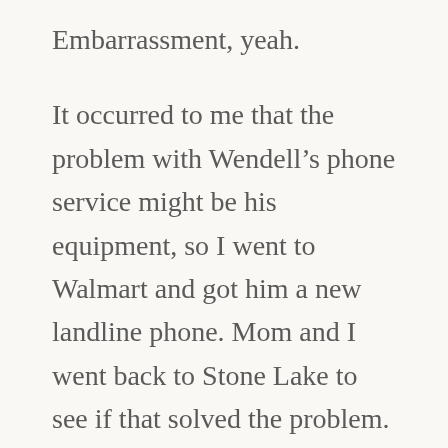Embarrassment, yeah.
It occurred to me that the problem with Wendell's phone service might be his equipment, so I went to Walmart and got him a new landline phone. Mom and I went back to Stone Lake to see if that solved the problem. It didn't.
Stopped to see Mary and Jerry to see their house one more time before they leave it forever. So many parties, so many memories. Ended